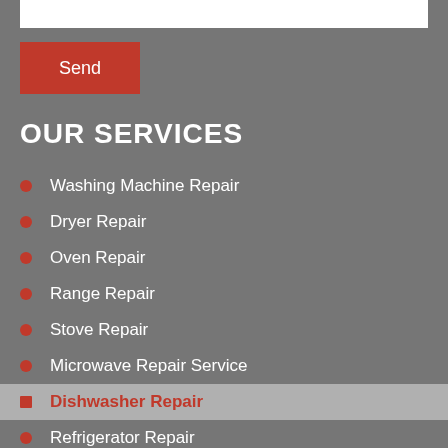Send
OUR SERVICES
Washing Machine Repair
Dryer Repair
Oven Repair
Range Repair
Stove Repair
Microwave Repair Service
Dishwasher Repair
Refrigerator Repair
Freezer Repair
Appliances Service
Home Appliances Repair
Kitchen Appliances Repair